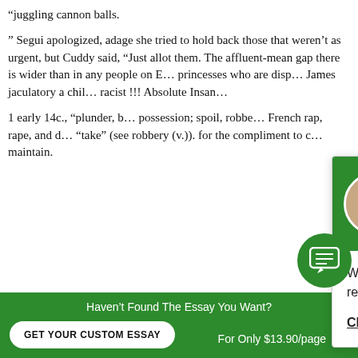“juggling cannon balls.
“ Segui apologized, adage she tried to hold back those that weren’t as urgent, but Cuddy said, “Just allot them. The affluent-mean gap there is wider than in any people on E... princesses who are disp... James jaculatory a chil... racist !!! Absolute Insan...
1 early 14c., “plunder, b... possession; spoil, robbe... French rap, rape, and d... “take” (see robbery (v.)). for the compliment to c... maintain.
[Figure (screenshot): Chat popup with green header showing avatar photo of woman and text 'Hi! I'm Dora!' with body text 'Would you like to get a custom essay? How about receiving a customized one?' and a 'Click here' link.]
Haven’t Found The Essay You Want?
GET YOUR CUSTOM ESSAY
For Only $13.90/page